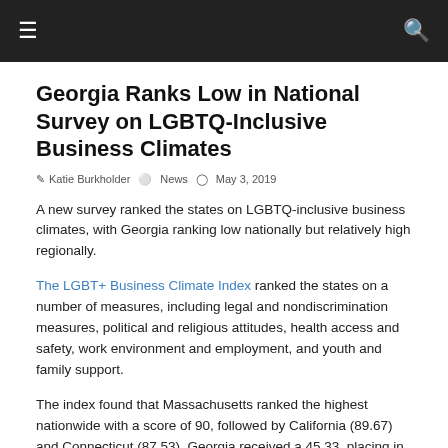≡  [navigation bar]  🔍
Georgia Ranks Low in National Survey on LGBTQ-Inclusive Business Climates
Katie Burkholder   News   May 3, 2019
A new survey ranked the states on LGBTQ-inclusive business climates, with Georgia ranking low nationally but relatively high regionally.
The LGBT+ Business Climate Index ranked the states on a number of measures, including legal and nondiscrimination measures, political and religious attitudes, health access and safety, work environment and employment, and youth and family support.
The index found that Massachusetts ranked the highest nationwide with a score of 90, followed by California (89.67) and Connecticut (87.53). Georgia received a 45.33, placing in 38th.